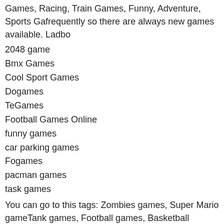Games, Racing, Train Games, Funny, Adventure, Sports Ga... frequently so there are always new games available. Ladbo...
2048 game
Bmx Games
Cool Sport Games
Dogames
TeGames
Football Games Online
funny games
car parking games
Fogames
pacman games
task games
You can go to this tags: Zombies games, Super Mario game... Tank games, Football games, Basketball games, Billiards ga... games, Batman games, Tom and Jerry games, Ben 10 gam... Fu games.